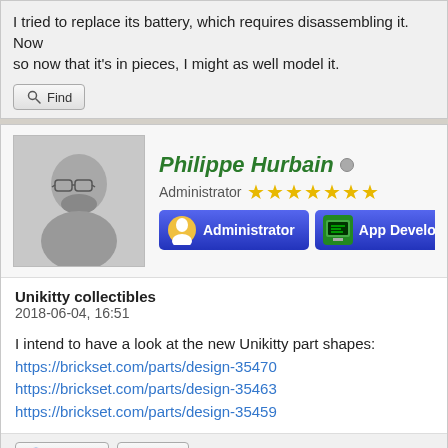I tried to replace its battery, which requires disassembling it. Now so now that it's in pieces, I might as well model it.
Philippe Hurbain
Administrator ★★★★★★★
Administrator | App Developer
Unikitty collectibles
2018-06-04, 16:51
I intend to have a look at the new Unikitty part shapes:
https://brickset.com/parts/design-35470
https://brickset.com/parts/design-35463
https://brickset.com/parts/design-35459
Website | Find